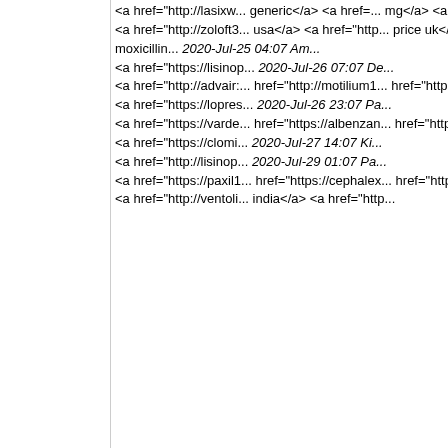<a href="http://lasixw...generic</a> <a href=...mg</a> <a href="http...2020-Jul-25 04:07 Ja... <a href="http://zoloft3...usa</a> <a href="http...price uk</a> <a href=...tab</a> <a href="http...href="http://amoxicillin...2020-Jul-25 04:07 Am... <a href="https://lisinop...2020-Jul-26 07:07 De... <a href="http://advair:...href="http://motilium1...href="http://trazodone...2020-Jul-26 17:07 Am... <a href="https://lopres...2020-Jul-26 23:07 Pa... <a href="https://varde...href="https://albenzan...href="https://predniso...2020-Jul-27 03:07 Lis... <a href="https://clomi...2020-Jul-27 14:07 Ki... <a href="http://lisinop...2020-Jul-29 01:07 Pa... <a href="https://paxil1...href="https://cephalex...href="https://kamagra...2020-Jul-29 09:07 Ja... <a href="http://ventoli...india</a> <a href="http...